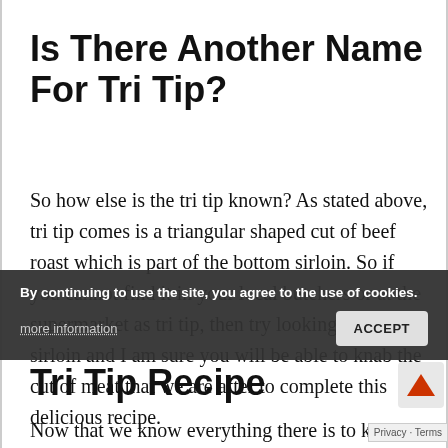Is There Another Name For Tri Tip?
So how else is the tri tip known? As stated above, tri tip comes is a triangular shaped cut of beef roast which is part of the bottom sirloin. So if you cannot find it in your local butchers or at the supermarket as tri tip, then try looking for bottom sirloin and I am sure you will be able to knab the cut of meat that we are after to complete this delicious recipe.
By continuing to use the site, you agree to the use of cookies.
Tri Tip Recipe
Now that we know everything there is to kno